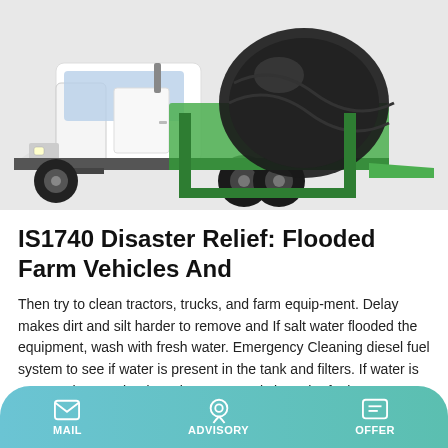[Figure (photo): White and green concrete mixer truck on a light grey background]
IS1740 Disaster Relief: Flooded Farm Vehicles And
Then try to clean tractors, trucks, and farm equip-ment. Delay makes dirt and silt harder to remove and If salt water flooded the equipment, wash with fresh water. Emergency Cleaning diesel fuel system to see if water is present in the tank and filters. If water is present, have trained service personnel clean the fuel system.
MAIL   ADVISORY   OFFER